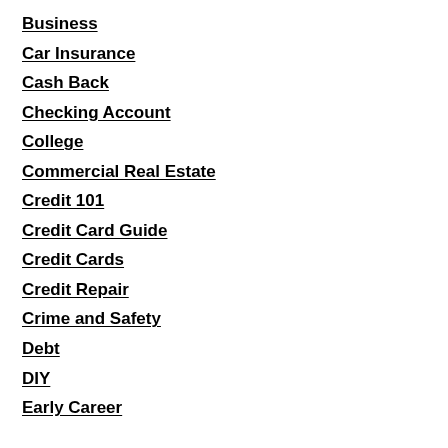Business
Car Insurance
Cash Back
Checking Account
College
Commercial Real Estate
Credit 101
Credit Card Guide
Credit Cards
Credit Repair
Crime and Safety
Debt
DIY
Early Career